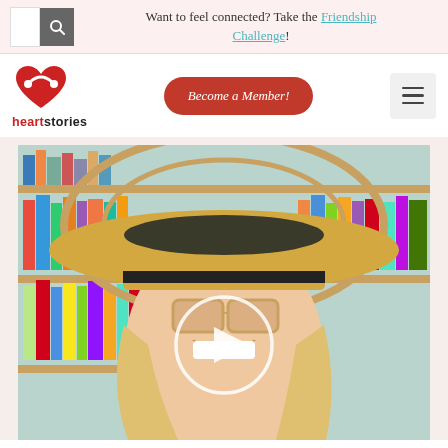Want to feel connected? Take the Friendship Challenge!
[Figure (logo): Heart Stories logo with red heart icon and text 'heartstories']
Become a Member!
[Figure (photo): Woman smiling wearing a large sun hat and sunglasses, seated in front of a bookshelf. A video play button overlay is centered on the image.]